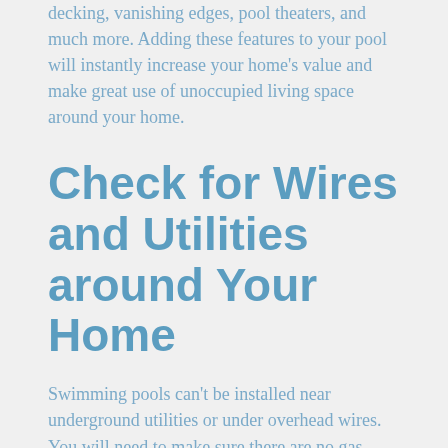decking, vanishing edges, pool theaters, and much more. Adding these features to your pool will instantly increase your home's value and make great use of unoccupied living space around your home.
Check for Wires and Utilities around Your Home
Swimming pools can't be installed near underground utilities or under overhead wires. You will need to make sure there are no gas lines or drain lines under your home in the area you plan to have your pool installed. While overhead wires are easy to notice, underground utilities are not as easy to spot and may require utilizing the support of a professional pool